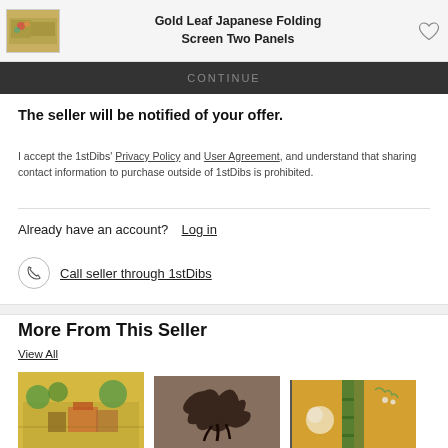[Figure (screenshot): Top navigation bar showing product thumbnail image of Gold Leaf Japanese Folding Screen, product title, and heart/favorite icon]
Gold Leaf Japanese Folding Screen Two Panels
CONTINUE
The seller will be notified of your offer.
I accept the 1stDibs' Privacy Policy and User Agreement, and understand that sharing contact information to purchase outside of 1stDibs is prohibited.
Already have an account?  Log in
Call seller through 1stDibs
More From This Seller
View All
[Figure (photo): Japanese folding screen painting with gold background showing figures and trees]
[Figure (photo): Dark brown ink painting of an animal figure]
[Figure (photo): Japanese folding screen painting with bamboo and flowers on gold background]